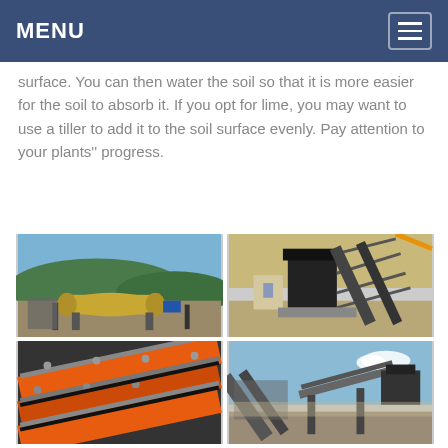MENU
surface. You can then water the soil so that it is more easier for the soil to absorb it. If you opt for lime, you may want to use a tiller to add it to the soil surface evenly. Pay attention to your plants'' progress.
[Figure (photo): Industrial ball mill machinery at an outdoor mining/processing facility with forested hills in background]
[Figure (photo): Large industrial crusher/impact machine with conveyor belts at a quarry or mining site]
[Figure (photo): Close-up of orange-painted industrial vibrating screen or sieving equipment components]
[Figure (photo): Industrial conveyor belt system at a crushing/quarry plant with blue sky background]